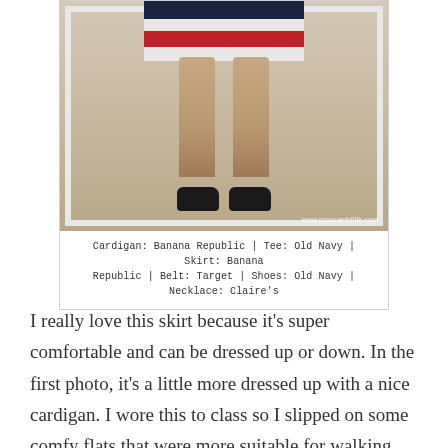[Figure (photo): Photo of lower body showing striped skirt (navy, white, red stripes), bare legs, and black flat shoes. Taken in a mirror. Watermark: www.ncsquaredlife.com]
Cardigan: Banana Republic | Tee: Old Navy | Skirt: Banana Republic | Belt: Target | Shoes: Old Navy | Necklace: Claire's
I really love this skirt because it's super comfortable and can be dressed up or down. In the first photo, it's a little more dressed up with a nice cardigan. I wore this to class so I slipped on some comfy flats that were more suitable for walking, but if I were wearing this